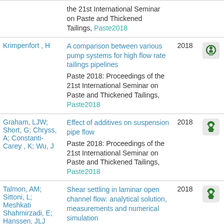| Author | Title / Venue | Year | OA |
| --- | --- | --- | --- |
|  | the 21st International Seminar on Paste and Thickened Tailings, Paste2018 | 2018 |  |
| Krimpenfort , H | A comparison between various pump systems for high flow rate tailings pipelines
Paste 2018: Proceedings of the 21st International Seminar on Paste and Thickened Tailings, Paste2018 | 2018 |  |
| Graham, LJW; Short, G; Chryss, A; Constanti-Carey , K; Wu, J | Effect of additives on suspension pipe flow
Paste 2018: Proceedings of the 21st International Seminar on Paste and Thickened Tailings, Paste2018 | 2018 |  |
| Talmon, AM; Sittoni, L; Meshkati Shahmirzadi, E; Hanssen, JLJ | Shear settling in laminar open channel flow: analytical solution, measurements and numerical simulation
Paste 2018: Proceedings of | 2018 |  |